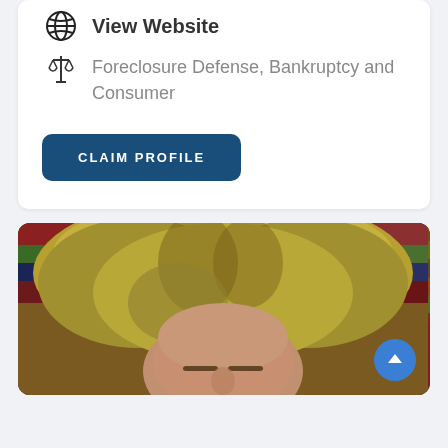View Website
Foreclosure Defense, Bankruptcy and Consumer
CLAIM PROFILE
[Figure (photo): Close-up photo of a woman with blonde/highlighted wavy hair, partially visible face, with law books in the background (red, green, blue spines visible)]